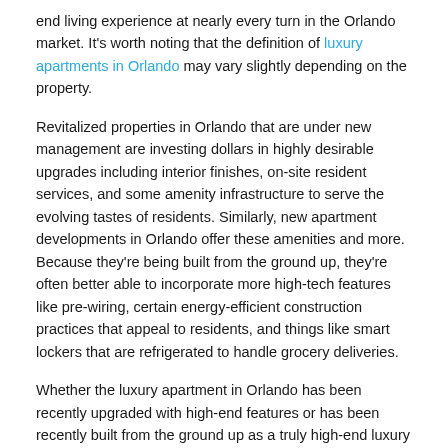end living experience at nearly every turn in the Orlando market. It's worth noting that the definition of luxury apartments in Orlando may vary slightly depending on the property.
Revitalized properties in Orlando that are under new management are investing dollars in highly desirable upgrades including interior finishes, on-site resident services, and some amenity infrastructure to serve the evolving tastes of residents. Similarly, new apartment developments in Orlando offer these amenities and more. Because they're being built from the ground up, they're often better able to incorporate more high-tech features like pre-wiring, certain energy-efficient construction practices that appeal to residents, and things like smart lockers that are refrigerated to handle grocery deliveries.
Whether the luxury apartment in Orlando has been recently upgraded with high-end features or has been recently built from the ground up as a truly high-end luxury community, nearly all will offer the following features and amenities for standard appeal.
GOURMET KITCHENS
The luxury renter expects a spacious and well-appointed kitchen that appears custom-designed by them. Renters love stainless steel, energy-efficient appliances for a sleek look, kitchen islands for ample counter space and storage, and other high-end kitchen features for cooking.